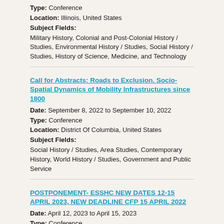Type: Conference
Location: Illinois, United States
Subject Fields:
Military History, Colonial and Post-Colonial History / Studies, Environmental History / Studies, Social History / Studies, History of Science, Medicine, and Technology
Call for Abstracts: Roads to Exclusion. Socio-Spatial Dynamics of Mobility Infrastructures since 1800
Date: September 8, 2022 to September 10, 2022
Type: Conference
Location: District Of Columbia, United States
Subject Fields:
Social History / Studies, Area Studies, Contemporary History, World History / Studies, Government and Public Service
POSTPONEMENT- ESSHC NEW DATES 12-15 APRIL 2023, NEW DEADLINE CFP 15 APRIL 2022
Date: April 12, 2023 to April 15, 2023
Type: Conference
Location: Sweden